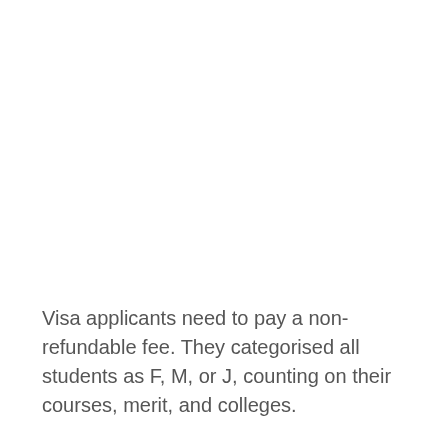Visa applicants need to pay a non-refundable fee. They categorised all students as F, M, or J, counting on their courses, merit, and colleges.